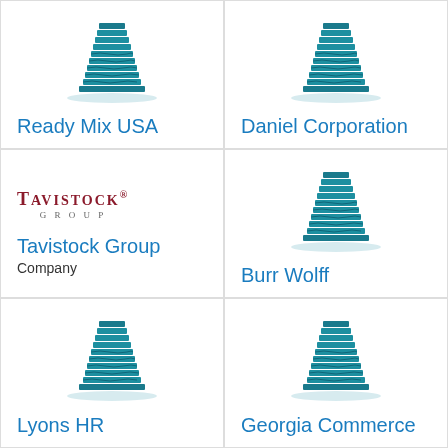[Figure (logo): Teal building/skyscraper icon for Ready Mix USA]
Ready Mix USA
[Figure (logo): Teal building/skyscraper icon for Daniel Corporation]
Daniel Corporation
[Figure (logo): Tavistock Group text logo in dark red serif font]
Tavistock Group
Company
[Figure (logo): Teal building/skyscraper icon for Burr Wolff]
Burr Wolff
[Figure (logo): Teal building/skyscraper icon for Lyons HR]
Lyons HR
[Figure (logo): Teal building/skyscraper icon for Georgia Commerce]
Georgia Commerce